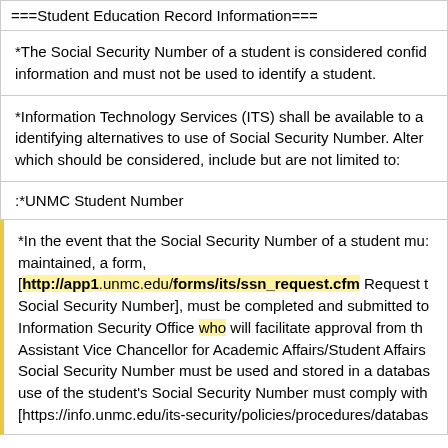===Student Education Record Information===
*The Social Security Number of a student is considered confidential information and must not be used to identify a student.
*Information Technology Services (ITS) shall be available to assist in identifying alternatives to use of Social Security Number. Alternatives, which should be considered, include but are not limited to:
:*UNMC Student Number
*In the event that the Social Security Number of a student must be maintained, a form, [http://app1.unmc.edu/forms/its/ssn_request.cfm Request to Use Social Security Number], must be completed and submitted to the Information Security Office who will facilitate approval from the Assistant Vice Chancellor for Academic Affairs/Student Affairs ... Social Security Number must be used and stored in a database ... use of the student's Social Security Number must comply with ... [https://info.unmc.edu/its-security/policies/procedures/databas...